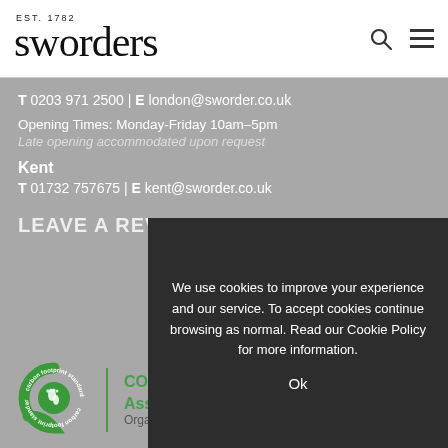sworders EST. 1782
T 0203 971 2500 | E london@sworder.co.uk
Opening Times: Monday-Friday 10am–5pm
Late opening accommodated upon request
Kent
T 01732 757675 | E kent@sworder.co.uk
LEAVE A REVIEW
[Figure (logo): Carbon footprint standard green C logo with footprint icon and text: CO2e Assessed Organisation]
We use cookies to improve your experience and our service. To accept cookies continue browsing as normal. Read our Cookie Policy for more information.
Ok